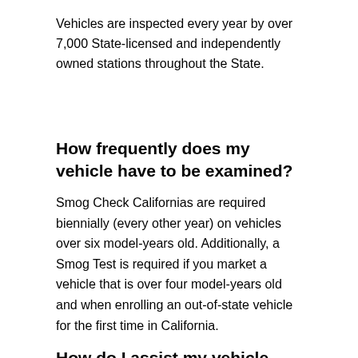Vehicles are inspected every year by over 7,000 State-licensed and independently owned stations throughout the State.
How frequently does my vehicle have to be examined?
Smog Check Californias are required biennially (every other year) on vehicles over six model-years old. Additionally, a Smog Test is required if you market a vehicle that is over four model-years old and when enrolling an out-of-state vehicle for the first time in California.
How do I assist my vehicle pass a Smog